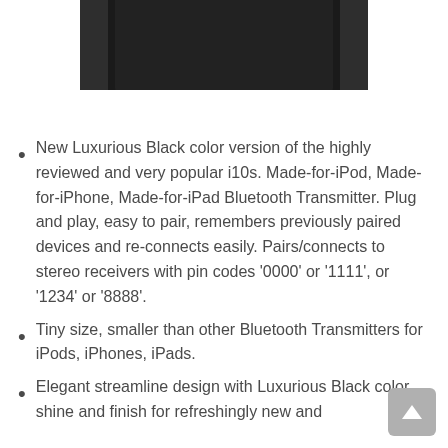[Figure (photo): Partial view of a black electronic device (Bluetooth transmitter) against a white background, showing the top portion of the device.]
New Luxurious Black color version of the highly reviewed and very popular i10s. Made-for-iPod, Made-for-iPhone, Made-for-iPad Bluetooth Transmitter. Plug and play, easy to pair, remembers previously paired devices and reconnects easily. Pairs/connects to stereo receivers with pin codes ‘0000’ or ‘1111’, or ‘1234’ or ‘8888’.
Tiny size, smaller than other Bluetooth Transmitters for iPods, iPhones, iPads.
Elegant streamline design with Luxurious Black color, shine and finish for refreshingly new and